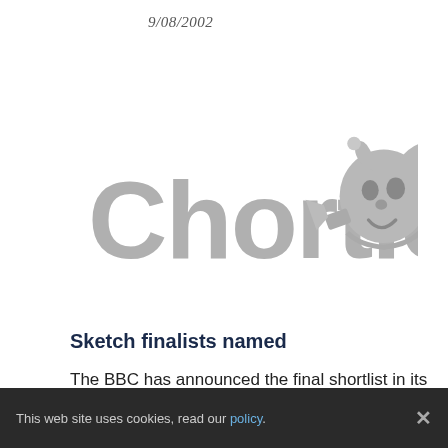9/08/2002
[Figure (logo): Chortle logo in grey with stylized comedy mask/jester figure on the right side]
Sketch finalists named
The BBC has announced the final shortlist in its hunt...
This web site uses cookies, read our policy.